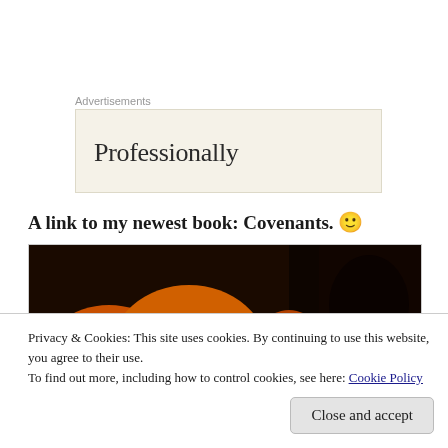Advertisements
[Figure (screenshot): Advertisement box with cream/beige background showing partial text 'Professionally']
A link to my newest book: Covenants. 🙂
[Figure (photo): Close-up photograph of fire/flames in orange and yellow tones against dark background]
Privacy & Cookies: This site uses cookies. By continuing to use this website, you agree to their use.
To find out more, including how to control cookies, see here: Cookie Policy
Close and accept